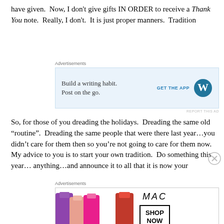have given.  Now, I don't give gifts IN ORDER to receive a Thank You note.  Really, I don't.  It is just proper manners.  Tradition
[Figure (other): WordPress 'Build a writing habit. Post on the go.' advertisement with GET THE APP button and WordPress logo]
So, for those of you dreading the holidays.  Dreading the same old “routine”.  Dreading the same people that were there last year…you didn't care for them then so you’re not going to care for them now.  My advice to you is to start your own tradition.  Do something this year… anything…and announce it to all that it is now your
[Figure (other): MAC Cosmetics advertisement showing lipsticks with SHOP NOW button]